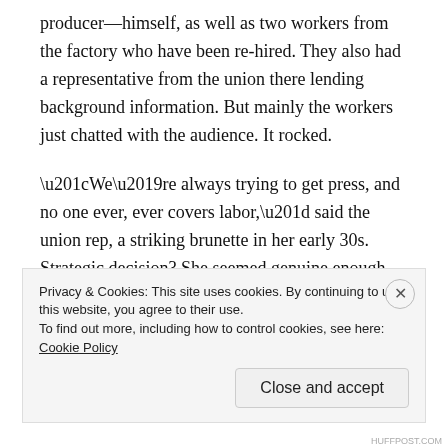producer—himself, as well as two workers from the factory who have been re-hired. They also had a representative from the union there lending background information. But mainly the workers just chatted with the audience. It rocked.
“We’re always trying to get press, and no one ever, ever covers labor,” said the union rep, a striking brunette in her early 30s. Strategic decision? She seemed genuine enough.
I like the idea of art that showcases labor. My sister has a
Privacy & Cookies: This site uses cookies. By continuing to use this website, you agree to their use.
To find out more, including how to control cookies, see here: Cookie Policy
Close and accept